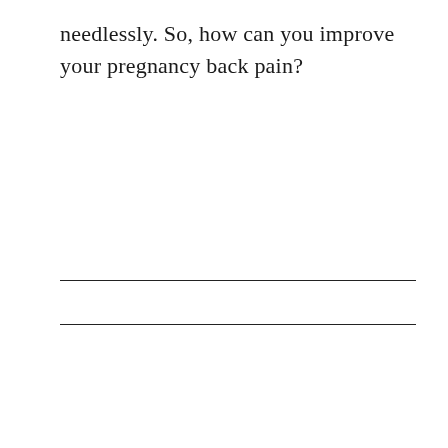needlessly. So, how can you improve your pregnancy back pain?